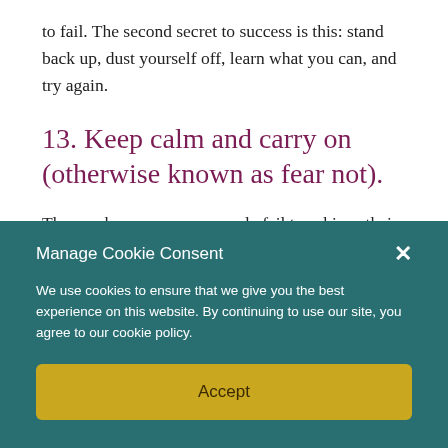to fail. The second secret to success is this: stand back up, dust yourself off, learn what you can, and try again.
13. Keep calm and carry on (otherwise known as fear not).
The number one reason people fail to achieve their dreams and/or their calling is fear. It'll either slow you down, maybe to the point that you grind to a halt, or maybe it'll paralyze
Manage Cookie Consent
We use cookies to ensure that we give you the best experience on this website. By continuing to use our site, you agree to our cookie policy.
Accept